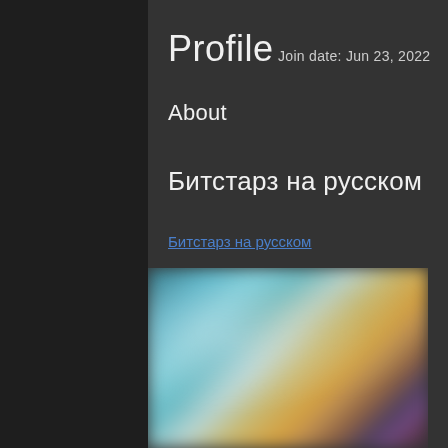Profile
Join date: Jun 23, 2022
About
Битстарз на русском
Битстарз на русском
[Figure (photo): Blurred image showing people and colorful background, appears to be a blurred screenshot of a video or webpage]